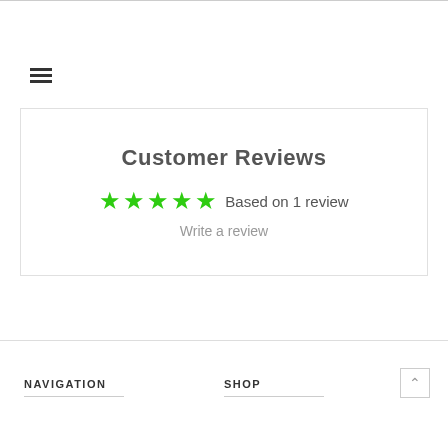[Figure (other): Hamburger menu icon (three horizontal lines)]
Customer Reviews
★★★★★ Based on 1 review
Write a review
NAVIGATION   SHOP